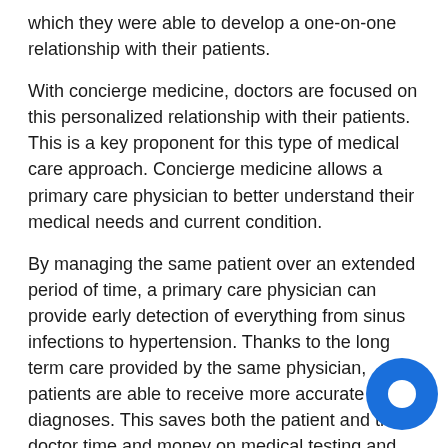which they were able to develop a one-on-one relationship with their patients.
With concierge medicine, doctors are focused on this personalized relationship with their patients. This is a key proponent for this type of medical care approach. Concierge medicine allows a primary care physician to better understand their medical needs and current condition.
By managing the same patient over an extended period of time, a primary care physician can provide early detection of everything from sinus infections to hypertension. Thanks to the long term care provided by the same physician, patients are able to receive more accurate diagnoses. This saves both the patient and the doctor time and money on medical testing and exploratory treatments.
Right now there are approximately 800 to 5,000 primary care physicians who practice concierge medicine. However, thanks to the personalized, instant access approach this type of medical care offers, more patients are seeing retainer